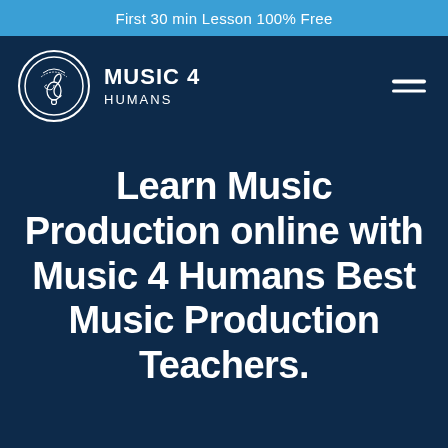First 30 min Lesson 100% Free
[Figure (logo): Music 4 Humans logo: circular emblem with musical motifs and text 'MUSIC 4 HUMANS']
Learn Music Production online with Music 4 Humans Best Music Production Teachers.